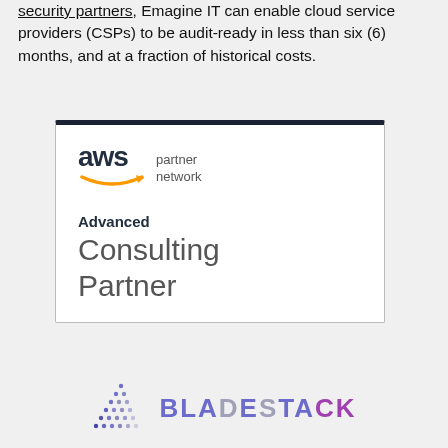security partners, Emagine IT can enable cloud service providers (CSPs) to be audit-ready in less than six (6) months, and at a fraction of historical costs.
[Figure (logo): AWS Partner Network Advanced Consulting Partner badge — white box with dark navy top border, AWS logo with orange smile arrow, text reading 'partner network', 'Advanced', 'Consulting Partner']
[Figure (logo): BladeStack logo — triangular dot pattern on left, stylized text BLADESTACK in purple and grey]